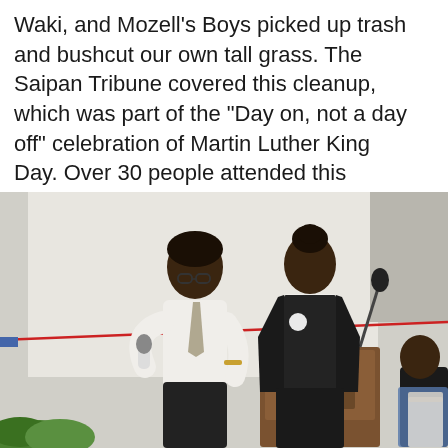Waki, and Mozell's Boys picked up trash and bushcut our own tall grass. The Saipan Tribune covered this cleanup, which was part of the "Day on, not a day off" celebration of Martin Luther King Day. Over 30 people attended this cleanup
[Figure (photo): Two people standing at a wooden podium. A man in a white shirt and tie holds a microphone, and a woman in a black blazer stands beside him. A red ribbon is visible in the background. A partially visible third person is seated to the right.]